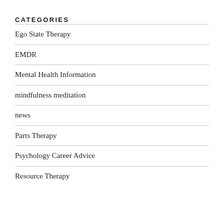CATEGORIES
Ego State Therapy
EMDR
Mental Health Information
mindfulness meditation
news
Parts Therapy
Psychology Career Advice
Resource Therapy